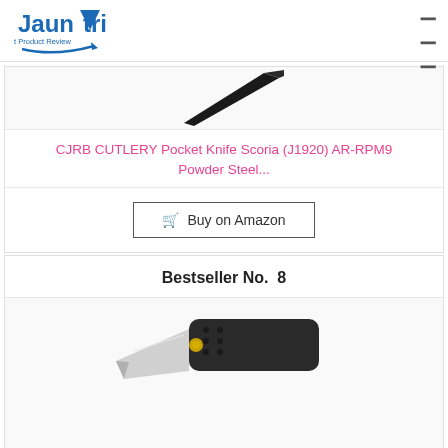[Figure (logo): Jaunatri Best Product Review logo with blue text and arrow graphic]
[Figure (photo): CJRB Cutlery pocket knife blade shown diagonally against white background]
CJRB CUTLERY Pocket Knife Scoria (J1920) AR-RPM9 Powder Steel...
Buy on Amazon
Bestseller No.  8
[Figure (photo): Pocket knife with black G10 handle and silver blade shown diagonally]